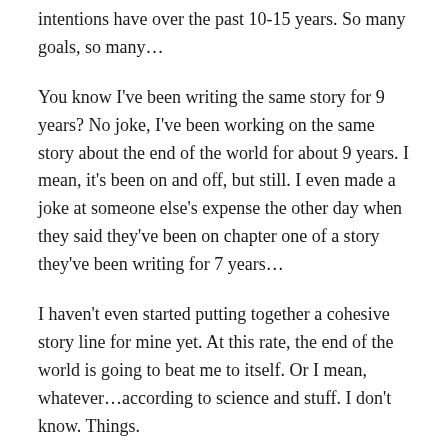intentions have over the past 10-15 years. So many goals, so many…
You know I've been writing the same story for 9 years? No joke, I've been working on the same story about the end of the world for about 9 years. I mean, it's been on and off, but still. I even made a joke at someone else's expense the other day when they said they've been on chapter one of a story they've been writing for 7 years…
I haven't even started putting together a cohesive story line for mine yet. At this rate, the end of the world is going to beat me to itself. Or I mean, whatever…according to science and stuff. I don't know. Things.
What this all boils down to is this: I purchased this blog and page in order to hold myself accountable to continuously create content. To make myself valuable, in a sense. I get running an unread blog page doesn't quite do that…but you